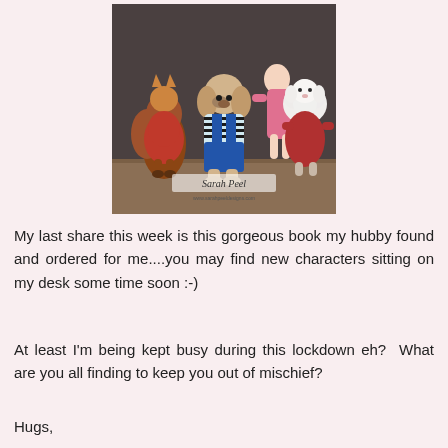[Figure (photo): Photo of stuffed animal toys/dolls arranged together on a wooden surface. A fox, a dog in striped shirt and denim overalls, a lamb in red, and other characters visible. 'Sarah Peel' watermark at the bottom of the image.]
My last share this week is this gorgeous book my hubby found and ordered for me....you may find new characters sitting on my desk some time soon :-)
At least I'm being kept busy during this lockdown eh?  What are you all finding to keep you out of mischief?
Hugs,